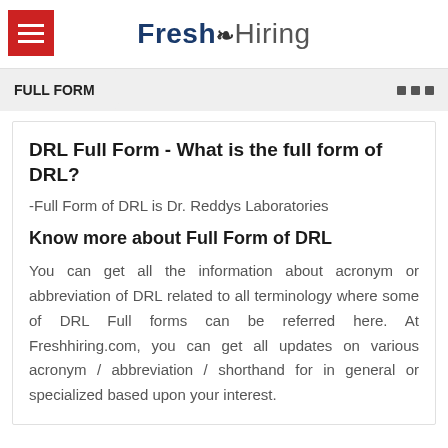Fresh Hiring
FULL FORM
DRL Full Form - What is the full form of DRL?
-Full Form of DRL is Dr. Reddys Laboratories
Know more about Full Form of DRL
You can get all the information about acronym or abbreviation of DRL related to all terminology where some of DRL Full forms can be referred here. At Freshhiring.com, you can get all updates on various acronym / abbreviation / shorthand for in general or specialized based upon your interest.